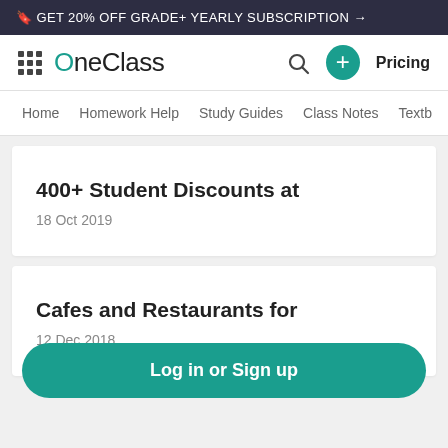🔖 GET 20% OFF GRADE+ YEARLY SUBSCRIPTION →
[Figure (logo): OneClass logo with grid icon, search icon, plus button, and Pricing link]
Home  Homework Help  Study Guides  Class Notes  Textb
400+ Student Discounts at
18 Oct 2019
Cafes and Restaurants for
12 Dec 2018
Log in or Sign up